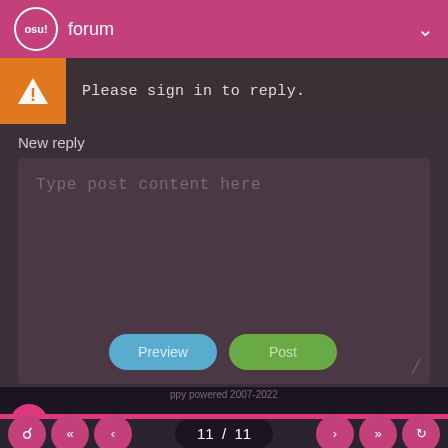osu! forum
Please sign in to reply.
New reply
Type post content here
Preview
Post
Terms  Privacy  Copyright (DMCA)  Server Status  Source Code
ppy powered 2007-2022
11 / 11